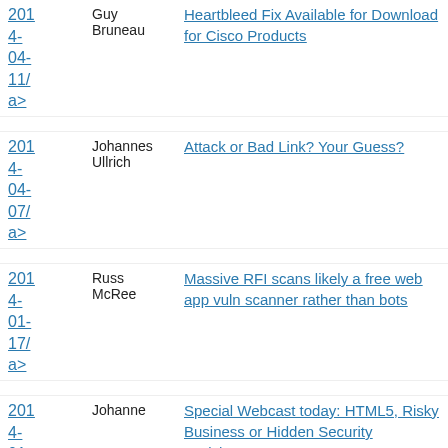| Date | Author | Title/Link |
| --- | --- | --- |
| 2014-04-11/ a> | Guy Bruneau | Heartbleed Fix Available for Download for Cisco Products |
| 2014-04-07/ a> | Johannes Ullrich | Attack or Bad Link? Your Guess? |
| 2014-01-17/ a> | Russ McRee | Massive RFI scans likely a free web app vuln scanner rather than bots |
| 2014-01- | Johanne | Special Webcast today: HTML5, Risky Business or Hidden Security Toolchest? https://www.sans.org/webcasts/html5-risky- |